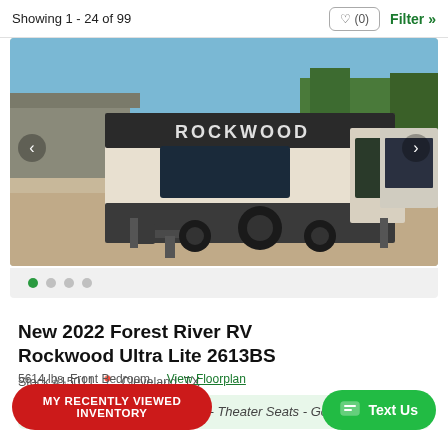Showing 1 - 24 of 99
[Figure (photo): Exterior photo of a Forest River RV Rockwood travel trailer in a dealer lot, white and dark two-tone exterior with ROCKWOOD branding, blue sky with trees in background]
New 2022 Forest River RV Rockwood Ultra Lite 2613BS
Stock #15011  Cleveland, TX
Two Central AC's - Heat Pump - Theater Seats - Goodyear Tires
5614 lbs, Front Bedroom, ...View Floorplan
MY RECENTLY VIEWED INVENTORY
Text Us